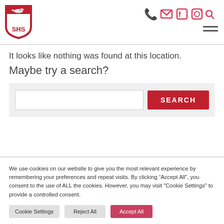[Figure (logo): SHS school logo — a red shield with a white dove and letters SHS]
[Figure (infographic): Header icons: phone, email, Facebook, Instagram, search (all in pink/red), and a hamburger menu]
It looks like nothing was found at this location.
Maybe try a search?
[Figure (screenshot): Search bar with text input and red SEARCH button]
We use cookies on our website to give you the most relevant experience by remembering your preferences and repeat visits. By clicking “Accept All”, you consent to the use of ALL the cookies. However, you may visit "Cookie Settings" to provide a controlled consent.
[Figure (screenshot): Three buttons: Cookie Settings (grey), Reject All (grey), Accept All (red)]